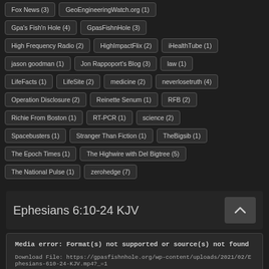Fox News (3)
GeoEngineeringWatch.org (1)
Gpa's Fish'n Hole (4)
GpasFishnHole (3)
High Frequency Radio (2)
HighImpactFlix (2)
iHealthTube (1)
jason goodman (1)
Jon Rappoport's Blog (3)
law (1)
LifeFacts (1)
LifeSite (2)
medicine (2)
neverlosetruth (4)
Operation Disclosure (2)
Reinette Senum (1)
RFB (2)
Richie From Boston (1)
RT-PCR (1)
science (2)
Spacebusters (1)
Stranger Than Fiction (1)
TheBigsib (1)
The Epoch Times (1)
The Highwire with Del Bigtree (5)
The National Pulse (1)
zerohedge (7)
Ephesians 6:10-24 KJV
Media error: Format(s) not supported or source(s) not found
Download File: https://gpasfishnhole.org/wp-content/uploads/2021/02/Ephesians-610-24-KJV.mp4?_=1